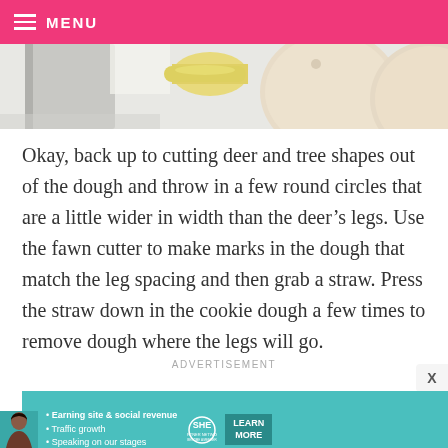MENU
[Figure (photo): Close-up of cookie dough being cut with a yellow rolling pin and round cookie cutters on a baking tray]
Okay, back up to cutting deer and tree shapes out of the dough and throw in a few round circles that are a little wider in width than the deer’s legs. Use the fawn cutter to make marks in the dough that match the leg spacing and then grab a straw. Press the straw down in the cookie dough a few times to remove dough where the legs will go.
ADVERTISEMENT
[Figure (screenshot): SHE Partner Network advertisement banner with woman, bullet points about earning site, traffic growth, speaking on stages, and a Learn More button]